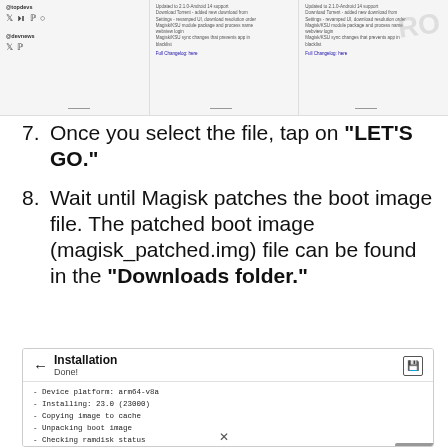[Figure (screenshot): Three-column screenshot showing app profiles with social icons and changelog text, partially watermarked]
7. Once you select the file, tap on "LET'S GO."
8. Wait until Magisk patches the boot image file. The patched boot image (magisk_patched.img) file can be found in the "Downloads folder."
[Figure (screenshot): Magisk Installation screen showing Done! with log output: Device platform: arm64-v8a, Installing: 23.0 (23000), Copying image to cache, Unpacking boot image, Checking ramdisk status, Stock boot image detected]